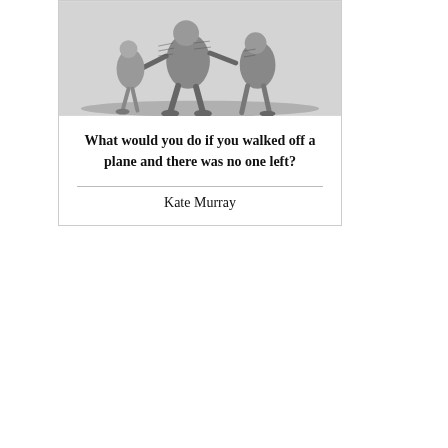[Figure (illustration): A black and white engraving/illustration showing figures near what appears to be an airplane or vehicle scene, partially cropped at top]
What would you do if you walked off a plane and there was no one left?
Kate Murray
Recent Posts
Papers and academia
And once again...
Motivation
Builder's cancelled